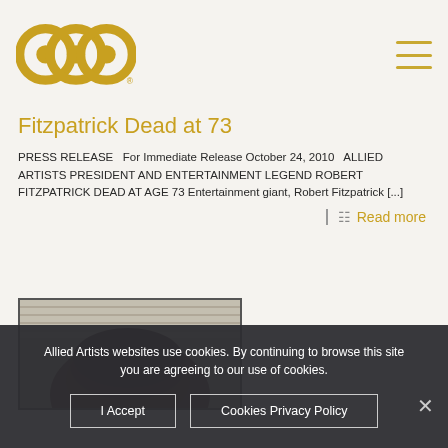[Figure (logo): Allied Artists 'aip' circular logo in gold/yellow color]
Fitzpatrick Dead at 73
PRESS RELEASE  For Immediate Release October 24, 2010  ALLIED ARTISTS PRESIDENT AND ENTERTAINMENT LEGEND ROBERT FITZPATRICK DEAD AT AGE 73 Entertainment giant, Robert Fitzpatrick [...]
Read more
[Figure (photo): Partial photo of a person's head, cropped showing top portion of face]
Allied Artists websites use cookies. By continuing to browse this site you are agreeing to our use of cookies.
I Accept
Cookies Privacy Policy